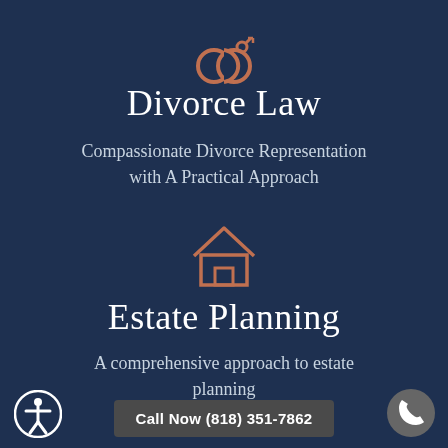[Figure (illustration): Two interlocked rings icon (marriage/divorce symbol) in copper/rose color]
Divorce Law
Compassionate Divorce Representation with A Practical Approach
[Figure (illustration): House/home icon outline in copper/rose color]
Estate Planning
A comprehensive approach to estate planning
[Figure (logo): Accessibility person-in-circle icon (white on dark blue circle)]
Call Now (818) 351-7862
[Figure (illustration): Phone handset icon on gray circle button]